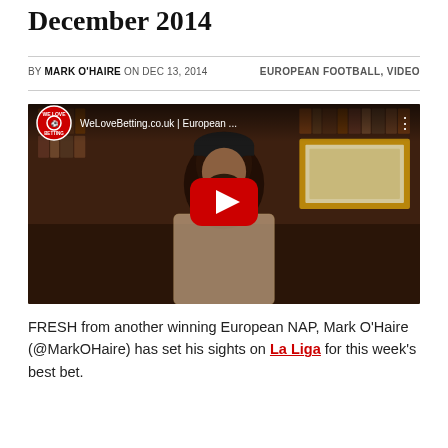December 2014
BY MARK O'HAIRE ON DEC 13, 2014   EUROPEAN FOOTBALL, VIDEO
[Figure (screenshot): YouTube video thumbnail showing a man with beard and beanie hat in a room with bookshelves and framed pictures. Video title overlay reads 'WeLoveBetting.co.uk | European ...' with YouTube play button in center and WeLoveBetting logo in top left.]
FRESH from another winning European NAP, Mark O'Haire (@MarkOHaire) has set his sights on La Liga for this week's best bet.